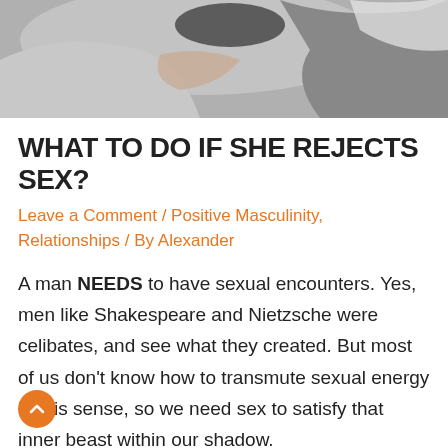[Figure (photo): Photo of a couple in bed, showing arms and bedding in grey tones]
WHAT TO DO IF SHE REJECTS SEX?
Leave a Comment / Positive Masculinity, Relationships / By Alexander
A man NEEDS to have sexual encounters. Yes, men like Shakespeare and Nietzsche were celibates, and see what they created. But most of us don't know how to transmute sexual energy in this sense, so we need sex to satisfy that inner beast within our shadow.